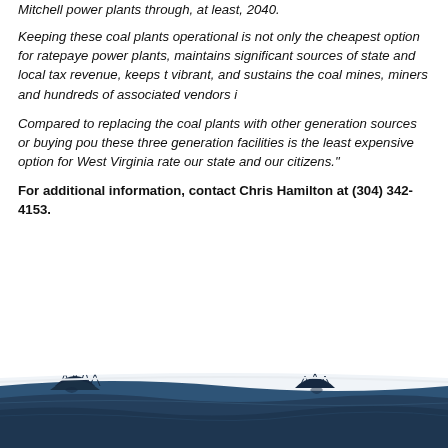Mitchell power plants through, at least, 2040.
Keeping these coal plants operational is not only the cheapest option for ratepayers, power plants, maintains significant sources of state and local tax revenue, keeps the vibrant, and sustains the coal mines, miners and hundreds of associated vendors i
Compared to replacing the coal plants with other generation sources or buying pow these three generation facilities is the least expensive option for West Virginia rate our state and our citizens."
For additional information, contact Chris Hamilton at (304) 342-4153.
[Figure (photo): Dark blue waterscape/river scene with tree silhouettes, used as a decorative footer image]